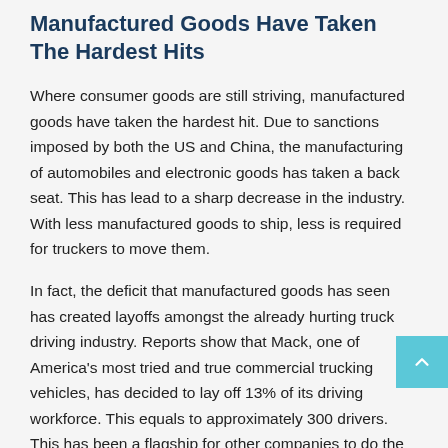Manufactured Goods Have Taken The Hardest Hits
Where consumer goods are still striving, manufactured goods have taken the hardest hit. Due to sanctions imposed by both the US and China, the manufacturing of automobiles and electronic goods has taken a back seat. This has lead to a sharp decrease in the industry. With less manufactured goods to ship, less is required for truckers to move them.
In fact, the deficit that manufactured goods has seen has created layoffs amongst the already hurting truck driving industry. Reports show that Mack, one of America's most tried and true commercial trucking vehicles, has decided to lay off 13% of its driving workforce. This equals to approximately 300 drivers. This has been a flagship for other companies to do the same. While the growth of the US economy is projected to grow steadfast in the upcoming year, the trucking industry is heading in another direction With Volvo and Daimler not far behind the